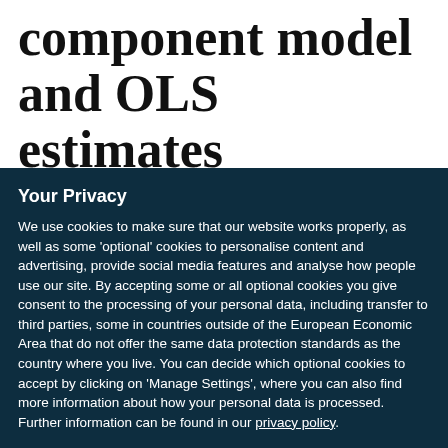component model and OLS estimates
Your Privacy
We use cookies to make sure that our website works properly, as well as some 'optional' cookies to personalise content and advertising, provide social media features and analyse how people use our site. By accepting some or all optional cookies you give consent to the processing of your personal data, including transfer to third parties, some in countries outside of the European Economic Area that do not offer the same data protection standards as the country where you live. You can decide which optional cookies to accept by clicking on 'Manage Settings', where you can also find more information about how your personal data is processed. Further information can be found in our privacy policy.
Accept all cookies
Manage preferences